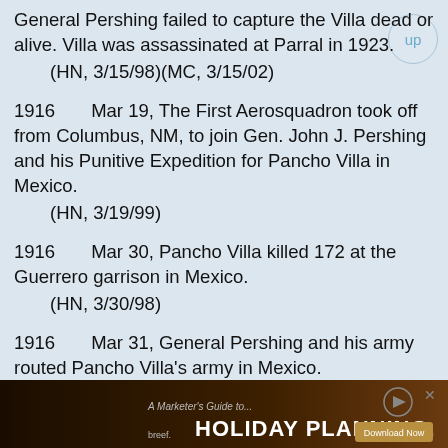General Pershing failed to capture the Villa dead or alive. Villa was assassinated at Parral in 1923.
    (HN, 3/15/98)(MC, 3/15/02)
1916    Mar 19, The First Aerosquadron took off from Columbus, NM, to join Gen. John J. Pershing and his Punitive Expedition for Pancho Villa in Mexico.
    (HN, 3/19/99)
1916    Mar 30, Pancho Villa killed 172 at the Guerrero garrison in Mexico.
    (HN, 3/30/98)
1916    Mar 31, General Pershing and his army routed Pancho Villa's army in Mexico.
    (HN, 3/31/98)
1916    Apr 12, American cavalrymen and Mexican bandit troops clashed at Parrel, Mexico.
[Figure (other): Advertisement banner: breef. A Marketer's Guide to... HOLIDAY PLANNING. Download Now]